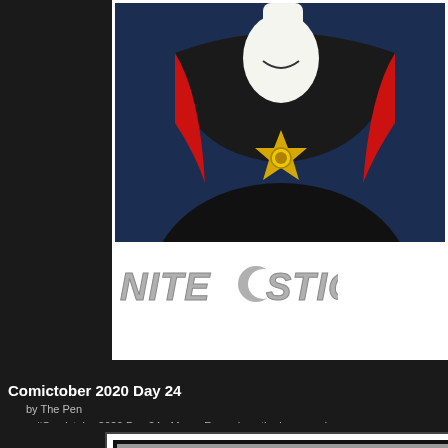[Figure (illustration): Top comic panel showing a villain character in dark cloak with red trim and a golden star/sun medallion on chest, white masked face, against dark blue background. Below panel is the NITESTICK logo in stylized italic text.]
Comictober 2020 Day 24
by The Pen
#Comictober2020 Day 24 - Moon. Funny how the logos and gaur
[Figure (illustration): Comic panel with gray background showing a speech bubble containing the text: STUPID SUPER HERO DRY CLEANERS ALWAYS MESSING UP PEOPLE'S COSTUME ORDERS!]